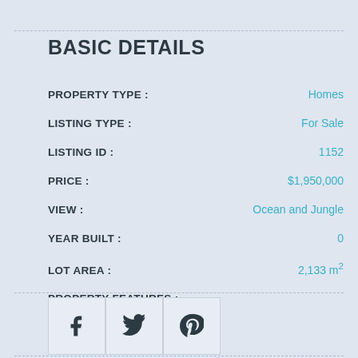BASIC DETAILS
| Field | Value |
| --- | --- |
| PROPERTY TYPE : | Homes |
| LISTING TYPE : | For Sale |
| LISTING ID : | 1152 |
| PRICE : | $1,950,000 |
| VIEW : | Ocean and Jungle |
| YEAR BUILT : | 0 |
| LOT AREA : | 2,133 m² |
| PROPERTY FEATURES : |  |
[Figure (illustration): Social media share buttons: Facebook (f), Twitter (bird), Pinterest (p) icons in bordered square boxes]